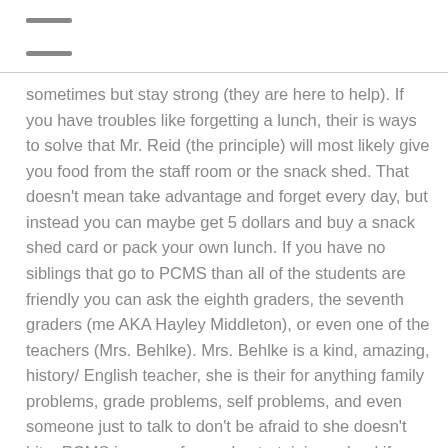☰
sometimes but stay strong (they are here to help). If you have troubles like forgetting a lunch, their is ways to solve that Mr. Reid (the principle) will most likely give you food from the staff room or the snack shed. That doesn't mean take advantage and forget every day, but instead you can maybe get 5 dollars and buy a snack shed card or pack your own lunch. If you have no siblings that go to PCMS than all of the students are friendly you can ask the eighth graders, the seventh graders (me AKA Hayley Middleton), or even one of the teachers (Mrs. Behlke). Mrs. Behlke is a kind, amazing, history/ English teacher, she is their for anything family problems, grade problems, self problems, and even someone just to talk to don't be afraid to she doesn't bite. PCMS is a very fun and entertaining school if you try hard it can be (no it will be) the best year of school for you. Time will fly by like no other so take what you have and make the best out of it, you have nothing to lose. In the end theirs not much to worry about, just try